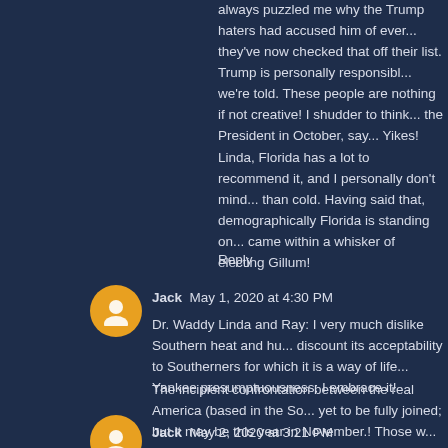always puzzled me why the Trump haters had accused him of ever... they've now checked that off their list. Trump is personally responsible, we're told. These people are nothing if not creative! I shudder to think... the President in October, say... Yikes!
Linda, Florida has a lot to recommend it, and I personally don't mind... than cold. Having said that, demographically Florida is standing on... came within a whisker of electing Gillum!
Reply
Jack  May 1, 2020 at 4:30 PM
Dr. Waddy Linda and Ray: I very much dislike Southern heat and hu... discount its acceptability to Southerners for which it is a way of life... Yankee presumptuousness: I embrace it!
The incipient confrontation between the real America (based in the So... yet to be fully joined; but it may be this year in November.! Those w... be AWARE!
Reply
Jack  May 2, 2020 at 3:21 PM